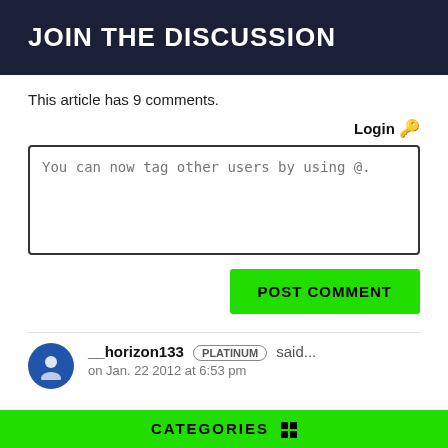JOIN THE DISCUSSION
This article has 9 comments.
Login 🔑
You can now tag other users by using @.
POST COMMENT
__horizon133 PLATINUM said... on Jan. 22 2012 at 6:53 pm
CATEGORIES